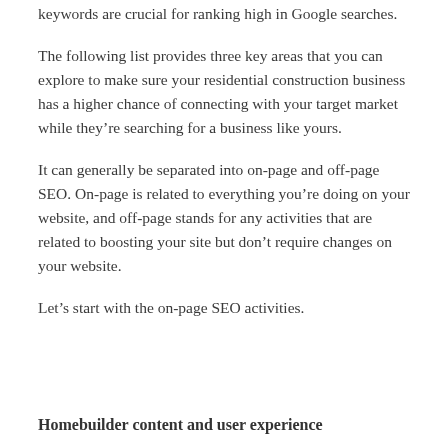keywords are crucial for ranking high in Google searches.
The following list provides three key areas that you can explore to make sure your residential construction business has a higher chance of connecting with your target market while they’re searching for a business like yours.
It can generally be separated into on-page and off-page SEO. On-page is related to everything you’re doing on your website, and off-page stands for any activities that are related to boosting your site but don’t require changes on your website.
Let’s start with the on-page SEO activities.
Homebuilder content and user experience